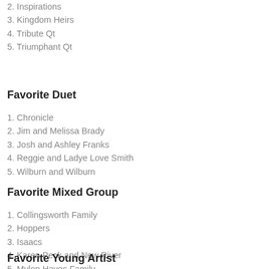1. (Elite Mates and Signature Sound)
2. Inspirations
3. Kingdom Heirs
4. Tribute Qt
5. Triumphant Qt
Favorite Duet
1. Chronicle
2. Jim and Melissa Brady
3. Josh and Ashley Franks
4. Reggie and Ladye Love Smith
5. Wilburn and Wilburn
Favorite Mixed Group
1. Collingsworth Family
2. Hoppers
3. Isaacs
4. Karen Peck and New River
5. Mylon Hayes Family
Favorite Young Artist